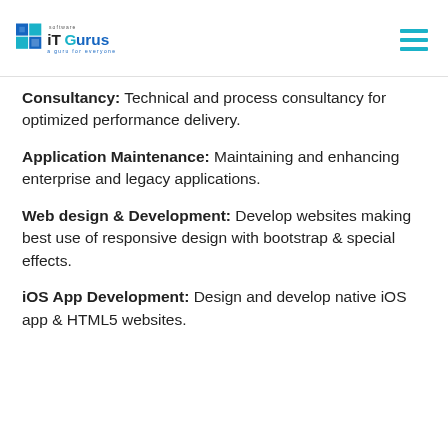[Figure (logo): iTGurus Software logo — stylized blue/teal 'iT' icon with grid graphic on left, text 'iTGurus' with 'software' above and 'a guru for everyone' below on right]
Consultancy: Technical and process consultancy for optimized performance delivery.
Application Maintenance: Maintaining and enhancing enterprise and legacy applications.
Web design & Development: Develop websites making best use of responsive design with bootstrap & special effects.
iOS App Development: Design and develop native iOS app & HTML5 websites.